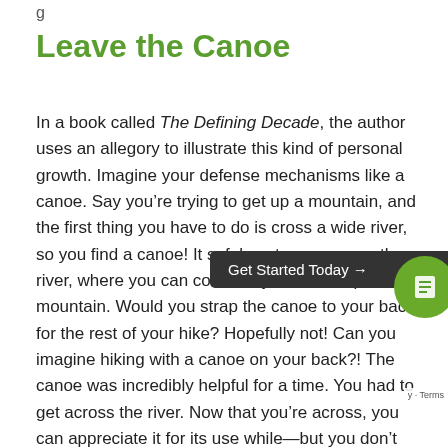g
Leave the Canoe
In a book called The Defining Decade, the author uses an allegory to illustrate this kind of personal growth. Imagine your defense mechanisms like a canoe. Say you're trying to get up a mountain, and the first thing you have to do is cross a wide river, so you find a canoe! It safely gets you across the river, where you can continue your climb up the mountain. Would you strap the canoe to your back for the rest of your hike? Hopefully not! Can you imagine hiking with a canoe on your back?! The canoe was incredibly helpful for a time. You had to get across the river. Now that you're across, you can appreciate it for its use while—but you don't need to take it
[Figure (other): Dark tooltip bar reading 'Get Started Today →' and a green circular button with a checklist icon overlay on the page]